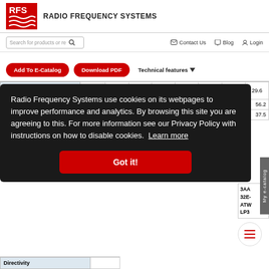RFS — RADIO FREQUENCY SYSTEMS
Search for products or re  Contact Us  Blog  Login
Add To E-Catalog  Download PDF  Technical features
|  |  | 12.9 | 18.2 | 20.0 | 23.7 | 27.1 | 28.4 | 29.6 |
| --- | --- | --- | --- | --- | --- | --- | --- | --- |
| Elevation RMS Gain | Numerical | 12.9 | 18.2 | 20.0 | 23.7 | 27.1 | 28.4 | 29.6 |
|  | Num |  |  |  |  |  |  |  |
|  |  |  |  |  |  |  |  | 56.2 |
|  |  |  |  |  |  |  |  | 37.5 |
|  |  | 3AA | 32E- | ATW | LP3 |  |  |  |
| Directivity |  |  |  |  |  |  |  |  |
Radio Frequency Systems use cookies on its webpages to improve performance and analytics. By browsing this site you are agreeing to this. For more information see our Privacy Policy with instructions on how to disable cookies. Learn more
Got it!